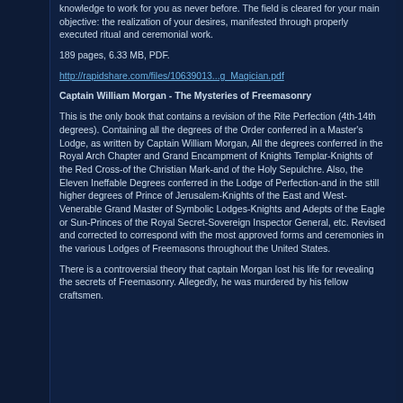knowledge to work for you as never before. The field is cleared for your main objective: the realization of your desires, manifested through properly executed ritual and ceremonial work.
189 pages, 6.33 MB, PDF.
http://rapidshare.com/files/10639013...g_Magician.pdf
Captain William Morgan - The Mysteries of Freemasonry
This is the only book that contains a revision of the Rite Perfection (4th-14th degrees). Containing all the degrees of the Order conferred in a Master's Lodge, as written by Captain William Morgan, All the degrees conferred in the Royal Arch Chapter and Grand Encampment of Knights Templar-Knights of the Red Cross-of the Christian Mark-and of the Holy Sepulchre. Also, the Eleven Ineffable Degrees conferred in the Lodge of Perfection-and in the still higher degrees of Prince of Jerusalem-Knights of the East and West-Venerable Grand Master of Symbolic Lodges-Knights and Adepts of the Eagle or Sun-Princes of the Royal Secret-Sovereign Inspector General, etc. Revised and corrected to correspond with the most approved forms and ceremonies in the various Lodges of Freemasons throughout the United States.
There is a controversial theory that captain Morgan lost his life for revealing the secrets of Freemasonry. Allegedly, he was murdered by his fellow craftsmen.